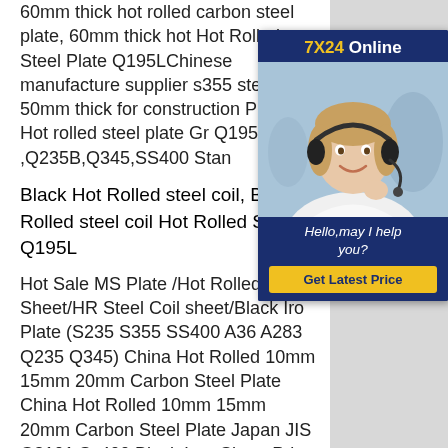60mm thick hot rolled carbon steel plate, 60mm thick hot Hot Rolled Steel Plate Q195LChinese manufacture supplier s355 steel plate 50mm thick for construction Products Hot rolled steel plate Gr Q195L ,Q235B,Q345,SS400 Stan
Black Hot Rolled steel coil, Blac Rolled steel coil Hot Rolled Stee Q195L
Hot Sale MS Plate /Hot Rolled Iro Sheet/HR Steel Coil sheet/Black Iro Plate (S235 S355 SS400 A36 A283 Q235 Q345) China Hot Rolled 10mm 15mm 20mm Carbon Steel Plate China Hot Rolled 10mm 15mm 20mm Carbon Steel Plate Japan JIS G3101 Ss400 Black Iron Sheet Price. Find details about China
[Figure (photo): Chat widget overlay with '7X24 Online' header in gold and blue, photo of a woman with a headset smiling, blue footer with 'Hello, may I help you?' italic text, and a gold 'Get Latest Price' button.]